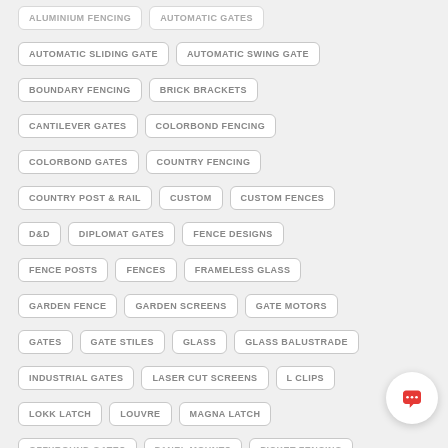AUTOMATIC SLIDING GATE
AUTOMATIC SWING GATE
BOUNDARY FENCING
BRICK BRACKETS
CANTILEVER GATES
COLORBOND FENCING
COLORBOND GATES
COUNTRY FENCING
COUNTRY POST & RAIL
CUSTOM
CUSTOM FENCES
D&D
DIPLOMAT GATES
FENCE DESIGNS
FENCE POSTS
FENCES
FRAMELESS GLASS
GARDEN FENCE
GARDEN SCREENS
GATE MOTORS
GATES
GATE STILES
GLASS
GLASS BALUSTRADE
INDUSTRIAL GATES
LASER CUT SCREENS
L CLIPS
LOKK LATCH
LOUVRE
MAGNA LATCH
OZZYBOUND GATES
PANEL MOUNTS
PICKET FENCING